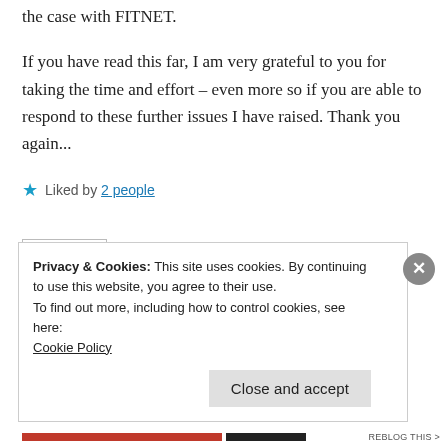the case with FITNET.
If you have read this far, I am very grateful to you for taking the time and effort – even more so if you are able to respond to these further issues I have raised. Thank you again...
★ Liked by 2 people
Reply
Privacy & Cookies: This site uses cookies. By continuing to use this website, you agree to their use.
To find out more, including how to control cookies, see here:
Cookie Policy
Close and accept